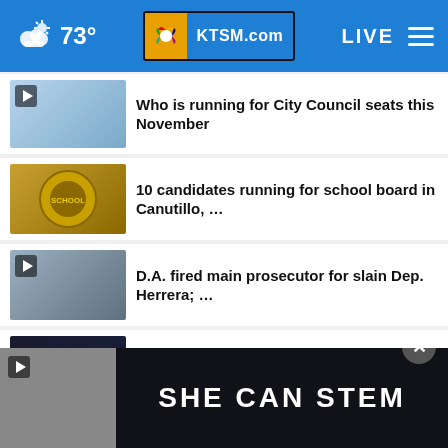73° KTSM.com LIVE
Who is running for City Council seats this November
10 candidates running for school board in Canutillo, …
D.A. fired main prosecutor for slain Dep. Herrera; …
Judge gives Trump until Friday to clarify request …
Dinosaur tracks become visible in Texas park amid …
[Figure (screenshot): SHE CAN STEM advertisement banner at the bottom of the page]